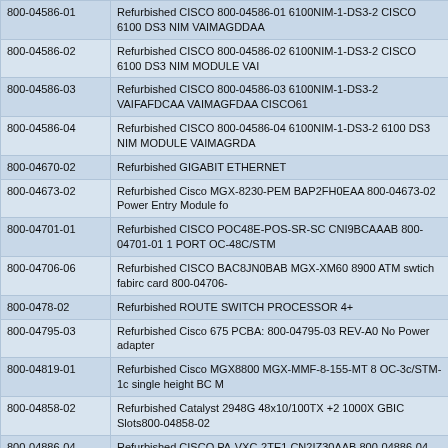| 800-04586-01 | Refurbished CISCO 800-04586-01 6100NIM-1-DS3-2 CISCO 6100 DS3 NIM VAIMAGDDAA |
| 800-04586-02 | Refurbished CISCO 800-04586-02 6100NIM-1-DS3-2 CISCO 6100 DS3 NIM MODULE VAI |
| 800-04586-03 | Refurbished CISCO 800-04586-03 6100NIM-1-DS3-2 VAIFAFDCAA VAIMAGFDAA CISCO61 |
| 800-04586-04 | Refurbished CISCO 800-04586-04 6100NIM-1-DS3-2 6100 DS3 NIM MODULE VAIMAGRDA |
| 800-04670-02 | Refurbished GIGABIT ETHERNET |
| 800-04673-02 | Refurbished Cisco MGX-8230-PEM BAP2FH0EAA 800-04673-02 Power Entry Module fo |
| 800-04701-01 | Refurbished CISCO POC48E-POS-SR-SC CNI9BCAAAB 800-04701-01 1 PORT OC-48C/STM |
| 800-04706-06 | Refurbished CISCO BAC8JN0BAB MGX-XM60 8900 ATM swtich fabirc card 800-04706- |
| 800-0478-02 | Refurbished ROUTE SWITCH PROCESSOR 4+ |
| 800-04795-03 | Refurbished Cisco 675 PCBA: 800-04795-03 REV-A0 No Power adapter |
| 800-04819-01 | Refurbished Cisco MGX8800 MGX-MMF-8-155-MT 8 OC-3c/STM-1c single height BC M |
| 800-04858-02 | Refurbished Catalyst 2948G 48x10/100TX +2 1000X GBIC Slots800-04858-02 |
| 800-04886-04 | Refurbished CISCO PA-VXC-2TE1 CN2IZ30AAB 800-04886-04 73-3861-04 Digital Voi |
| 800-04950-01 | Refurbished CISCO2610-DC 800-04950-01 Ethernet Modular Router w/ Cisco IOS I |
| 800-04999-02 | Refurbished DUAL T1 PORTS FOR 7200 SERIES CHASSIS |
| 800-05022-02 | Refurbished Cisco 6DS3-SMB 12000 6 port DS3 module 800-05022-02 73-3847-04 |
| 800-05029-02 | OEM Cisco SMB-8-T3 8800 8 T3 Single Height Back Card SMB Connectors |
|  | Refurbished Cisco SMB-8-T3 8800 8 T3 Single Height Back Card |